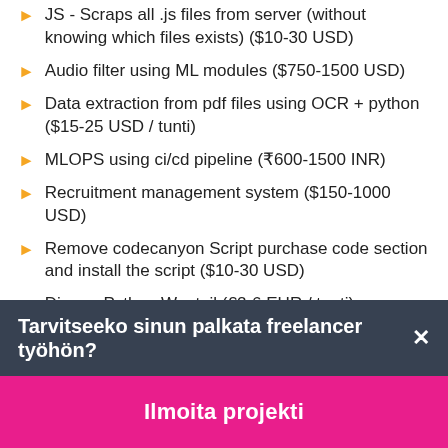JS - Scraps all .js files from server (without knowing which files exists) ($10-30 USD)
Audio filter using ML modules ($750-1500 USD)
Data extraction from pdf files using OCR + python ($15-25 USD / tunti)
MLOPS using ci/cd pipeline (₹600-1500 INR)
Recruitment management system ($150-1000 USD)
Remove codecanyon Script purchase code section and install the script ($10-30 USD)
Django Python Wagtail (€2-6 EUR / tunti)
C programming PHP development (₹600-1500 INR)
Tarvitseeko sinun palkata freelancer työhön?
Ilmoita projekti